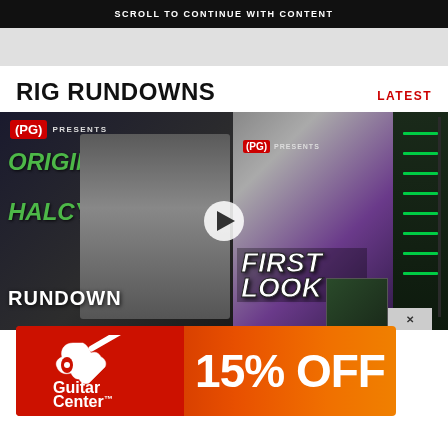SCROLL TO CONTINUE WITH CONTENT
RIG RUNDOWNS
LATEST
[Figure (screenshot): Video thumbnail composite showing PG Presents Rig Rundown and First Look segments, with a play button overlay. Left side shows 'ORIGIN HALCYON RUNDOWN' text in green with a person holding a green guitar pedal. Right side shows 'FIRST LOOK' logo with a musician in a shiny jacket and guitar racks with green lighting.]
Rig Rundown
Rig Rundown
Rig Rundown
Rig Rundown
[Figure (advertisement): Guitar Center advertisement banner with red and orange gradient background showing Guitar Center logo on left and '15% OFF' text on right in white bold font.]